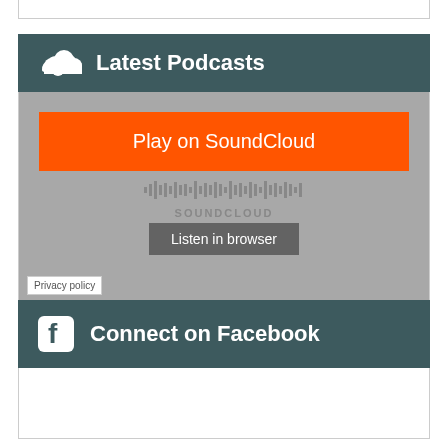[Figure (screenshot): Top portion of a card/widget with white background and light grey border visible at very top of page]
Latest Podcasts
[Figure (screenshot): SoundCloud embedded player widget with grey background, orange Play on SoundCloud button, waveform graphic, SOUNDCLOUD wordmark, Listen in browser button, and Privacy policy link]
Connect on Facebook
[Figure (screenshot): White box below Connect on Facebook header, representing a Facebook widget embed area]